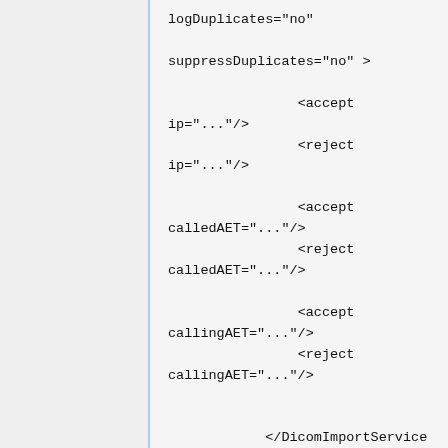logDuplicates="no"

            suppressDuplicates="no" >

                <accept ip="..."/>
                <reject ip="..."/>

                <accept calledAET="..."/>
                <reject calledAET="..."/>

                <accept callingAET="..."/>
                <reject callingAET="..."/>


            </DicomImportService>
where:
name is output to be used as...